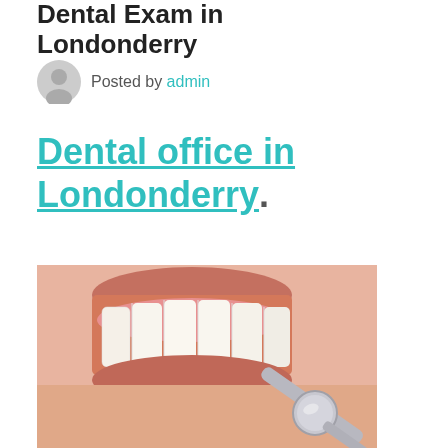Dental Exam in Londonderry
Posted by admin
Dental office in Londonderry.
[Figure (photo): Close-up photo of a smiling mouth with white teeth being examined by a dental mirror instrument]